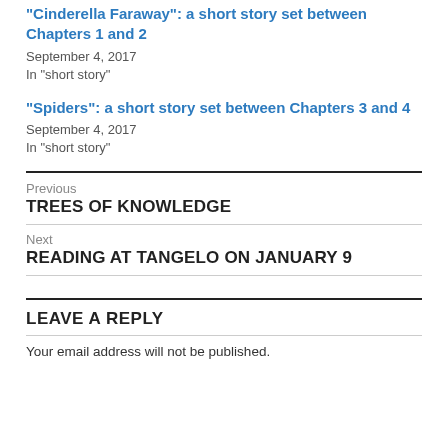“Cinderella Faraway”: a short story set between Chapters 1 and 2
September 4, 2017
In "short story"
“Spiders”: a short story set between Chapters 3 and 4
September 4, 2017
In "short story"
Previous
TREES OF KNOWLEDGE
Next
READING AT TANGELO ON JANUARY 9
LEAVE A REPLY
Your email address will not be published.